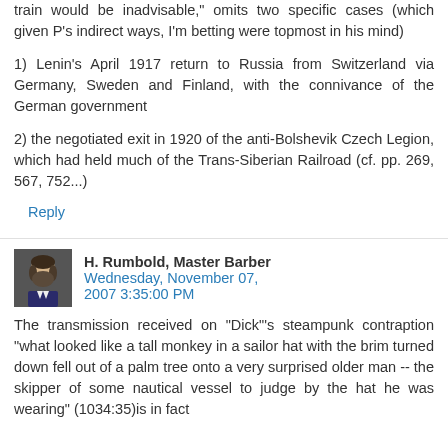train would be inadvisable," omits two specific cases (which given P's indirect ways, I'm betting were topmost in his mind)
1) Lenin's April 1917 return to Russia from Switzerland via Germany, Sweden and Finland, with the connivance of the German government
2) the negotiated exit in 1920 of the anti-Bolshevik Czech Legion, which had held much of the Trans-Siberian Railroad (cf. pp. 269, 567, 752...)
Reply
H. Rumbold, Master Barber Wednesday, November 07, 2007 3:35:00 PM
The transmission received on "Dick"'s steampunk contraption "what looked like a tall monkey in a sailor hat with the brim turned down fell out of a palm tree onto a very surprised older man -- the skipper of some nautical vessel to judge by the hat he was wearing" (1034:35)is in fact